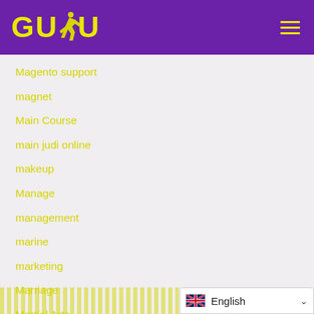[Figure (logo): GUDU logo with yellow text and runner icon on purple background, with hamburger menu icon]
Magento support
magnet
Main Course
main judi online
makeup
Manage
management
marine
marketing
Marriage
Martial Arts
massage
English